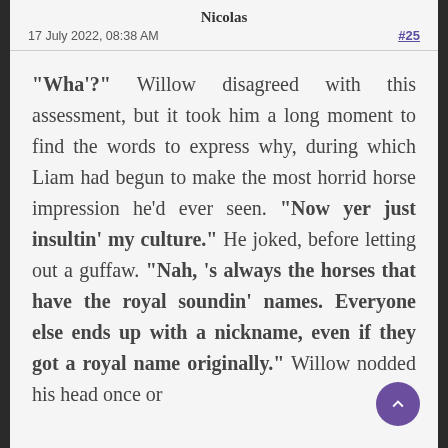Nicolas
17 July 2022, 08:38 AM
#25
“Wha’?” Willow disagreed with this assessment, but it took him a long moment to find the words to express why, during which Liam had begun to make the most horrid horse impression he’d ever seen. “Now yer just insultin’ my culture.” He joked, before letting out a guffaw. “Nah, ’s always the horses that have the royal soundin’ names. Everyone else ends up with a nickname, even if they got a royal name originally.” Willow nodded his head once or